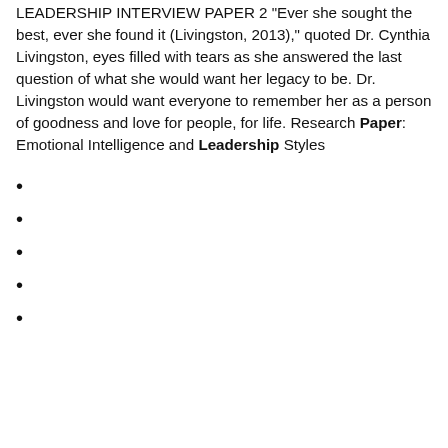LEADERSHIP INTERVIEW PAPER 2 "Ever she sought the best, ever she found it (Livingston, 2013)," quoted Dr. Cynthia Livingston, eyes filled with tears as she answered the last question of what she would want her legacy to be. Dr. Livingston would want everyone to remember her as a person of goodness and love for people, for life. Research Paper: Emotional Intelligence and Leadership Styles